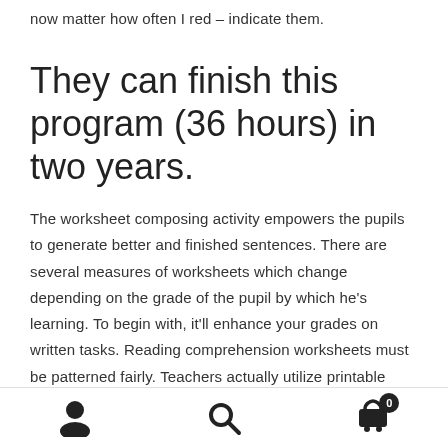now matter how often I red – indicate them.
They can finish this program (36 hours) in two years.
The worksheet composing activity empowers the pupils to generate better and finished sentences. There are several measures of worksheets which change depending on the grade of the pupil by which he's learning. To begin with, it'll enhance your grades on written tasks. Reading comprehension worksheets must be patterned fairly. Teachers actually utilize printable worksheets.
Navigation bar with user, search, and cart icons